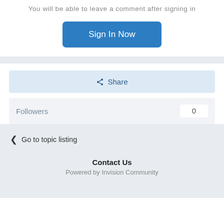You will be able to leave a comment after signing in
Sign In Now
Share
Followers  0
Go to topic listing
Contact Us
Powered by Invision Community